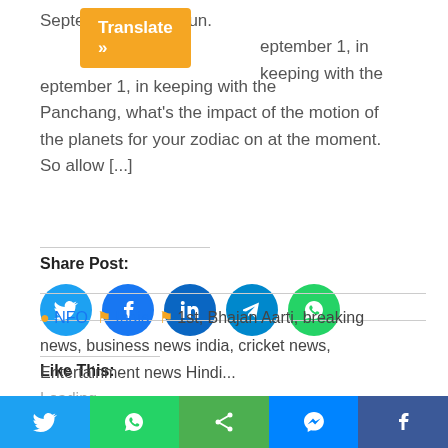[Figure (screenshot): Orange 'Translate »' button overlay on top-left of content area]
September has begun. September 1, in keeping with the Panchang, what's the impact of the motion of the planets for your zodiac on at the moment. So allow [...]
Share Post:
[Figure (infographic): Social share icons: Twitter (light blue circle), Facebook (blue circle), LinkedIn (dark blue circle), Telegram (blue circle), WhatsApp (green circle)]
Like This:
Loading...
NFO  India  1st, Bhajan Aarti, breaking news, business news india, cricket news, Entertainment news, Hindi...
[Figure (infographic): Bottom share bar with Twitter, WhatsApp, Share, Messenger, Facebook icons in colored sections]